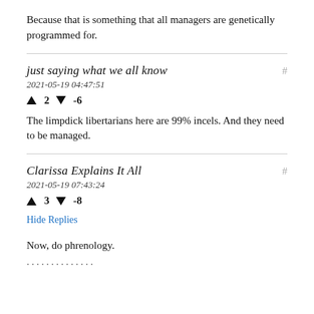Because that is something that all managers are genetically programmed for.
just saying what we all know
2021-05-19 04:47:51
↑ 2 ↓ -6
The limpdick libertarians here are 99% incels. And they need to be managed.
Clarissa Explains It All
2021-05-19 07:43:24
↑ 3 ↓ -8
Hide Replies
Now, do phrenology.